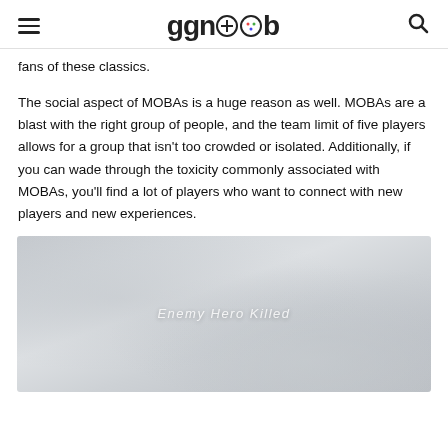ggnoob
fans of these classics.
The social aspect of MOBAs is a huge reason as well. MOBAs are a blast with the right group of people, and the team limit of five players allows for a group that isn't too crowded or isolated. Additionally, if you can wade through the toxicity commonly associated with MOBAs, you'll find a lot of players who want to connect with new players and new experiences.
[Figure (screenshot): Screenshot of a MOBA game interface showing 'Enemy Hero Killed' notification text overlaid on a game map with a light grey/washed out appearance]